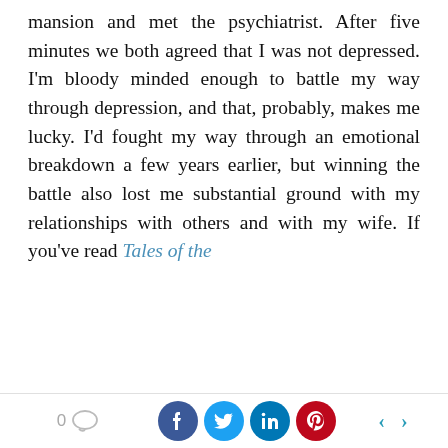mansion and met the psychiatrist. After five minutes we both agreed that I was not depressed. I'm bloody minded enough to battle my way through depression, and that, probably, makes me lucky. I'd fought my way through an emotional breakdown a few years earlier, but winning the battle also lost me substantial ground with my relationships with others and with my wife. If you've read Tales of the
We use cookies to optimize our website and our service.
ACCEPT COOKIES
DENY
VIEW PREFERENCES
0  [comment icon]  [facebook] [twitter] [linkedin] [pinterest]  < >